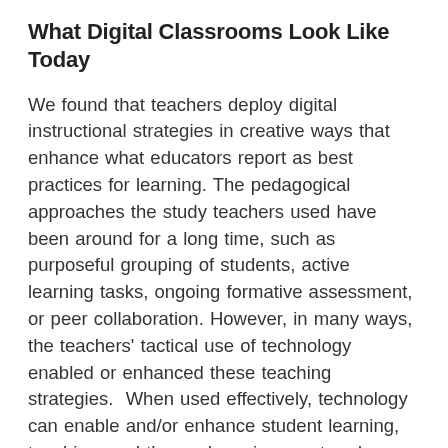What Digital Classrooms Look Like Today
We found that teachers deploy digital instructional strategies in creative ways that enhance what educators report as best practices for learning. The pedagogical approaches the study teachers used have been around for a long time, such as purposeful grouping of students, active learning tasks, ongoing formative assessment, or peer collaboration. However, in many ways, the teachers' tactical use of technology enabled or enhanced these teaching strategies.  When used effectively, technology can enable and/or enhance student learning, teaching, and the work environment and school culture for staff and students.